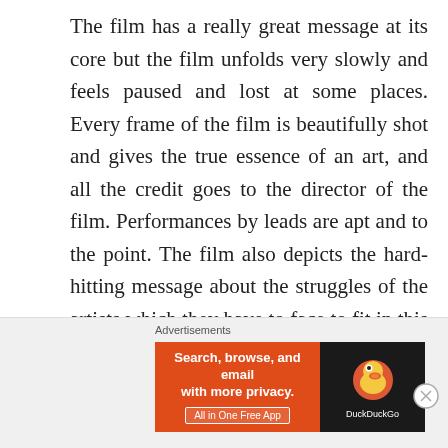The film has a really great message at its core but the film unfolds very slowly and feels paused and lost at some places. Every frame of the film is beautifully shot and gives the true essence of an art, and all the credit goes to the director of the film. Performances by leads are apt and to the point. The film also depicts the hard-hitting message about the struggles of the artists which they have to face to fit in this modern world. The film is slow burning and could have been made half an hour short. The use of humor in the first half of the film is appropriate and keeps the story moving and alive. The story and the direction of the film will definitely make the audience remember Sairat (2016), even if it
Advertisements
[Figure (other): DuckDuckGo advertisement banner with orange left panel reading 'Search, browse, and email with more privacy.' and 'All in One Free App', and dark right panel with DuckDuckGo logo and brand name.]